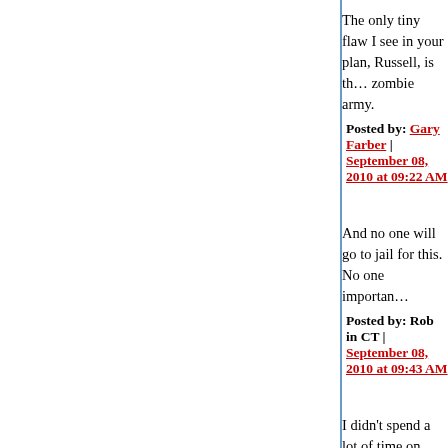The only tiny flaw I see in your plan, Russell, is th… zombie army.
Posted by: Gary Farber | September 08, 2010 at 09:22 AM
And no one will go to jail for this. No one importan…
Posted by: Rob in CT | September 08, 2010 at 09:43 AM
I didn't spend a lot of time on Gary's links, but it lo… 5-10 billion neighborhood. Is that right? Does som… authoritative link that shows a different number?
Posted by: McKinneyTexas | September 08, 2010 at 09:45 A…
If I'm reading Gary's post right, as high as $13 bill… unknown % of the $30 billion spent in Afganistan.
Posted by: Rob in CT | September 08, 2010 at 10:12 AM
Of course, if you think the entire Iraq War/occupa… whatever was a waste (and believe that Afganist…